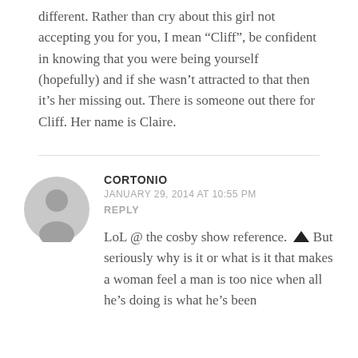different. Rather than cry about this girl not accepting you for you, I mean “Cliff”, be confident in knowing that you were being yourself (hopefully) and if she wasn’t attracted to that then it’s her missing out. There is someone out there for Cliff. Her name is Claire.
CORTONIO
JANUARY 29, 2014 AT 10:55 PM
REPLY
LoL @ the cosby show reference. But seriously why is it or what is it that makes a woman feel a man is too nice when all he’s doing is what he’s been